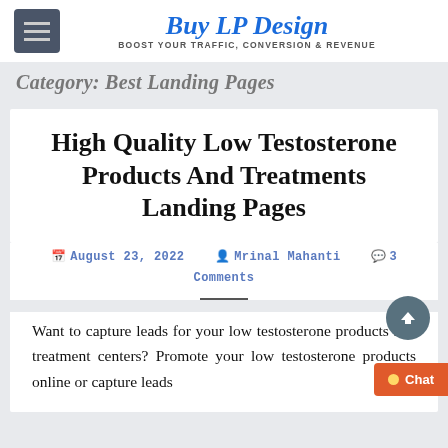Buy LP Design — BOOST YOUR TRAFFIC, CONVERSION & REVENUE
Category: Best Landing Pages
High Quality Low Testosterone Products And Treatments Landing Pages
August 23, 2022  Mrinal Mahanti  3 Comments
Want to capture leads for your low testosterone products and treatment centers? Promote your low testosterone products online or capture leads